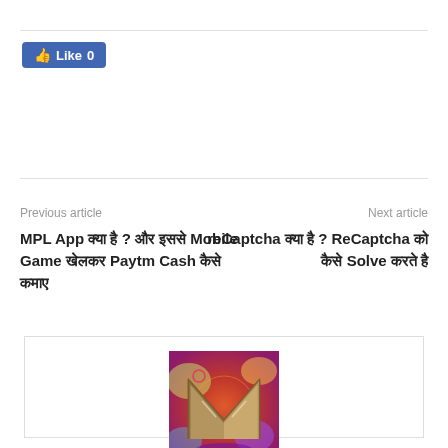[Figure (other): Facebook Like button showing 'Like 0']
Previous article
MPL App क्या है ? और इससे Mobile Game खेलकर Paytm Cash कैसे कमाए
Next article
reCaptcha क्या है ? ReCaptcha को कैसे Solve करते है
[Figure (illustration): Colorful artistic letter M illustration with swirling red, green, purple background]